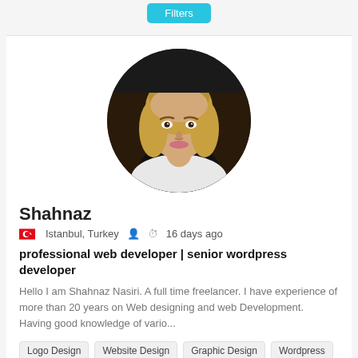[Figure (screenshot): Filters button at top of page]
[Figure (photo): Circular profile photo of Shahnaz, a woman with blonde hair wearing a white blazer]
Shahnaz
Istanbul, Turkey   16 days ago
professional web developer | senior wordpress developer
Hello I am Shahnaz Nasiri. A full time freelancer. I have experience of more than 20 years on Web designing and web Development. Having good knowledge of vario...
Logo Design  Website Design  Graphic Design  Wordpress  +6 More
$ 5/hr